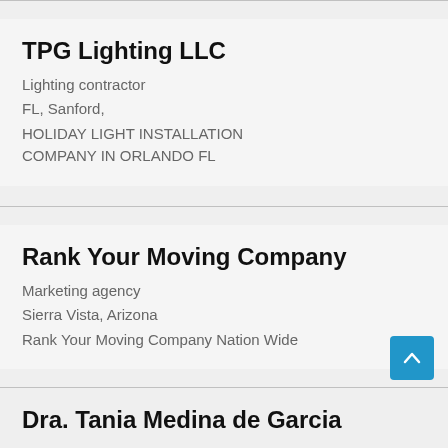TPG Lighting LLC
Lighting contractor
FL, Sanford,
HOLIDAY LIGHT INSTALLATION COMPANY IN ORLANDO FL
Rank Your Moving Company
Marketing agency
Sierra Vista, Arizona
Rank Your Moving Company Nation Wide
Dra. Tania Medina de Garcia